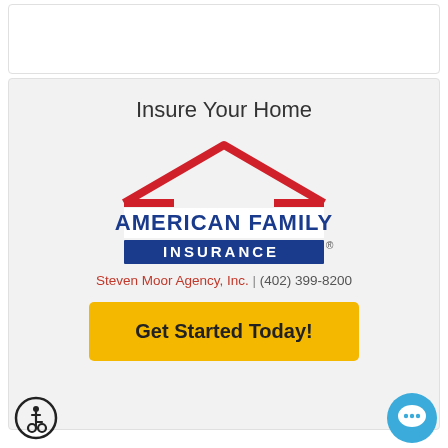[Figure (logo): American Family Insurance logo with red roofline graphic above blue banner with white text INSURANCE]
Insure Your Home
Steven Moor Agency, Inc. | (402) 399-8200
Get Started Today!
[Figure (illustration): Wheelchair accessibility icon — person in wheelchair in a circle]
[Figure (illustration): Blue circular chat/comment bubble icon]